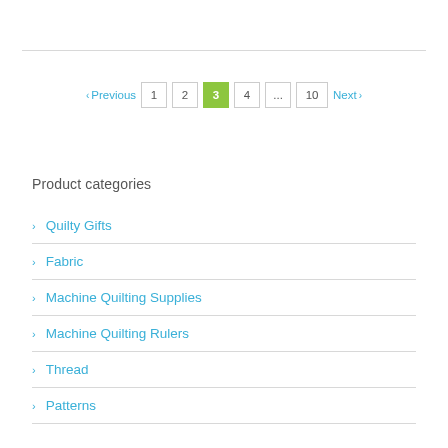[Figure (other): Pagination bar with Previous, 1, 2, 3 (active/highlighted in green), 4, ..., 10, Next navigation links]
Product categories
Quilty Gifts
Fabric
Machine Quilting Supplies
Machine Quilting Rulers
Thread
Patterns